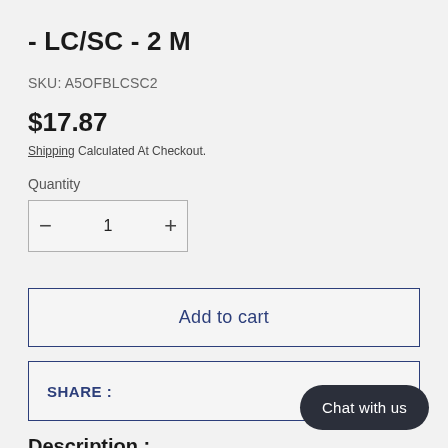- LC/SC - 2 M
SKU: A5OFBLCSC2
$17.87
Shipping Calculated At Checkout.
Quantity
[Figure (other): Quantity selector with minus button, value 1, and plus button]
Add to cart
SHARE :
Chat with us
Description :